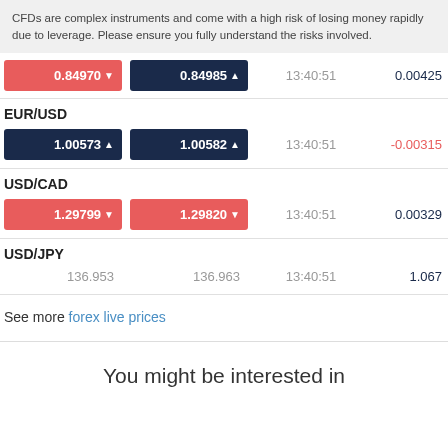CFDs are complex instruments and come with a high risk of losing money rapidly due to leverage. Please ensure you fully understand the risks involved.
| Sell | Buy | Time | Change |
| --- | --- | --- | --- |
| 0.84970▼ | 0.84985▲ | 13:40:51 | 0.00425 |
| EUR/USD |  |  |  |
| 1.00573▲ | 1.00582▲ | 13:40:51 | -0.00315 |
| USD/CAD |  |  |  |
| 1.29799▼ | 1.29820▼ | 13:40:51 | 0.00329 |
| USD/JPY |  |  |  |
| 136.953 | 136.963 | 13:40:51 | 1.067 |
See more forex live prices
You might be interested in